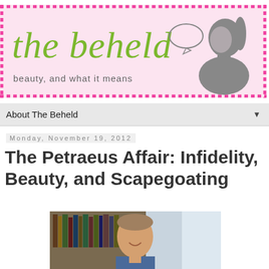[Figure (logo): Blog header banner for 'the beheld' with pink dotted border, green cursive title, tagline 'beauty, and what it means', and a grey female silhouette with speech bubble]
About The Beheld
Monday, November 19, 2012
The Petraeus Affair: Infidelity, Beauty, and Scapegoating
[Figure (photo): Photo of a man (Petraeus) smiling, in front of bookshelves]